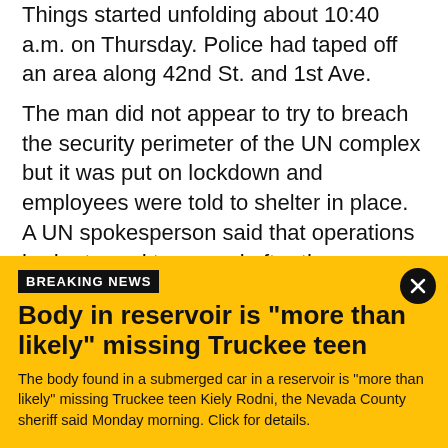Things started unfolding about 10:40 a.m. on Thursday. Police had taped off an area along 42nd St. and 1st Ave.
The man did not appear to try to breach the security perimeter of the UN complex but it was put on lockdown and employees were told to shelter in place. A UN spokesperson said that operations had returned to normal after the man was peacefully taken into custody.
The man said he had papers he wanted to be delivered to the UN.  Officers agreed to give the papers to UN officials and the man then agreed to surrender.  Police
BREAKING NEWS
Body in reservoir is "more than likely" missing Truckee teen
The body found in a submerged car in a reservoir is "more than likely" missing Truckee teen Kiely Rodni, the Nevada County sheriff said Monday morning. Click for details.